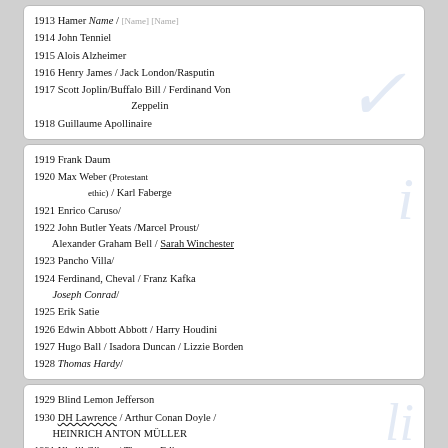[Figure (other): Handwritten list of years and names: 1913 Hamer [Name]/[Name]/[Name], 1914 John Tenniel, 1915 Alois Alzheimer, 1916 Henry James / Jack London/Rasputin, 1917 Scott Joplin/Buffalo Bill / Ferdinand Von Zeppelin, 1918 Guillaume Apollinaire]
[Figure (other): Handwritten list of years and names: 1919 Frank Daum, 1920 Max Weber (Protestant ethic) / Karl Faberge, 1921 Enrico Caruso/, 1922 John Butler Yeats / Marcel Proust / Alexander Graham Bell / Sarah Winchester, 1923 Pancho Villa/, 1924 Ferdinand, Cheval / Franz Kafka, Joseph Conrad/, 1925 Erik Satie, 1926 Edwin Abbott Abbott / Harry Houdini, 1927 Hugo Ball / Isadora Duncan / Lizzie Borden, 1928 Thomas Hardy/]
[Figure (other): Handwritten list of years and names: 1929 Blind Lemon Jefferson, 1930 DH Lawrence / Arthur Conan Doyle / Heinrich Anton Müller, 1931 Khalil Gibran / Thomas Edison, [1932 partial/truncated]]